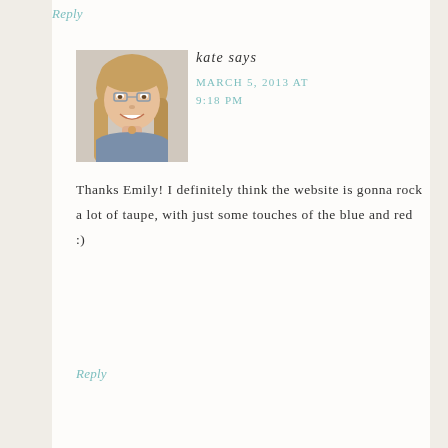Reply
[Figure (photo): Headshot photo of a smiling young woman with long blonde hair wearing a blue shirt]
kate says
MARCH 5, 2013 AT 9:18 PM
Thanks Emily! I definitely think the website is gonna rock a lot of taupe, with just some touches of the blue and red :)
Reply